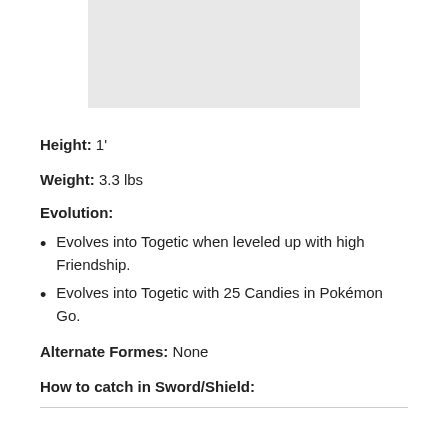[Figure (photo): Gray placeholder image area at top of page]
Height: 1'
Weight: 3.3 lbs
Evolution:
Evolves into Togetic when leveled up with high Friendship.
Evolves into Togetic with 25 Candies in Pokémon Go.
Alternate Formes: None
How to catch in Sword/Shield: